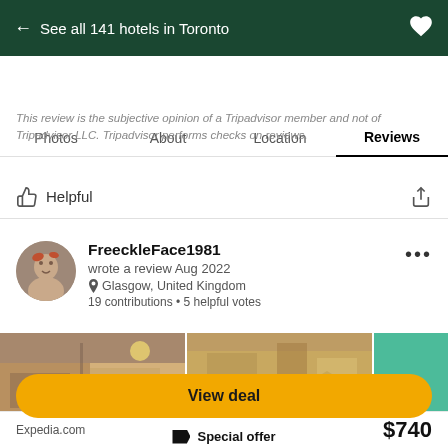← See all 141 hotels in Toronto
Photos  About  Location  Reviews
This review is the subjective opinion of a Tripadvisor member and not of Tripadvisor LLC. Tripadvisor performs checks on reviews.
Helpful
FreeckleFace1981
wrote a review Aug 2022
Glasgow, United Kingdom
19 contributions • 5 helpful votes
[Figure (photo): Two hotel room interior photos side by side with a teal/green colored panel on right]
Expedia.com  $740
View deal
Special offer